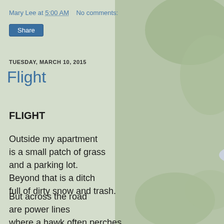[Figure (photo): Background photo of light purple chicory flowers with green stems against a blurred green background, faded/muted tones overlaid with white.]
Mary Lee at 5:00 AM    No comments:
Share
TUESDAY, MARCH 10, 2015
Flight
FLIGHT
Outside my apartment
is a small patch of grass
and a parking lot.
Beyond that is a ditch
full of dirty snow and trash.
But across the road
are power lines
where a hawk often perches
long enough for me to sketch.